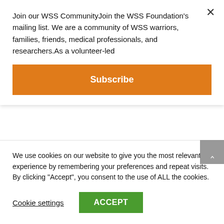Join our WSS CommunityJoin the WSS Foundation's mailing list. We are a community of WSS warriors, families, friends, medical professionals, and researchers.As a volunteer-led
Subscribe
by Thor Misko | Feb 23, 2021 | Stories
The following is a story about the strength of Brandon from Pennsylvania, USA in his mother's words:  Brandon is our 17-year-old WSS Warrior and is the true definition
We use cookies on our website to give you the most relevant experience by remembering your preferences and repeat visits. By clicking "Accept", you consent to the use of ALL the cookies.
Cookie settings
ACCEPT